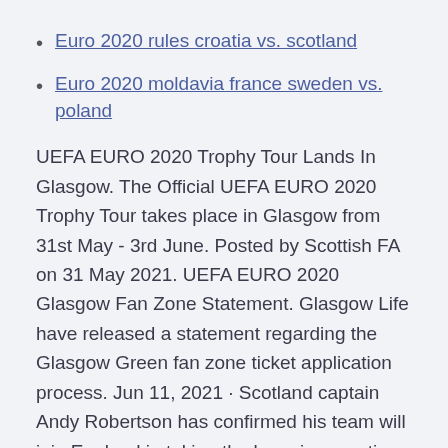Euro 2020 rules croatia vs. scotland
Euro 2020 moldavia france sweden vs. poland
UEFA EURO 2020 Trophy Tour Lands In Glasgow. The Official UEFA EURO 2020 Trophy Tour takes place in Glasgow from 31st May - 3rd June. Posted by Scottish FA on 31 May 2021. UEFA EURO 2020 Glasgow Fan Zone Statement. Glasgow Life have released a statement regarding the Glasgow Green fan zone ticket application process. Jun 11, 2021 · Scotland captain Andy Robertson has confirmed his team will join England in taking the knee in an anti-racism gesture when the two sides meet at Wembley in Euro 2020 on June 18.